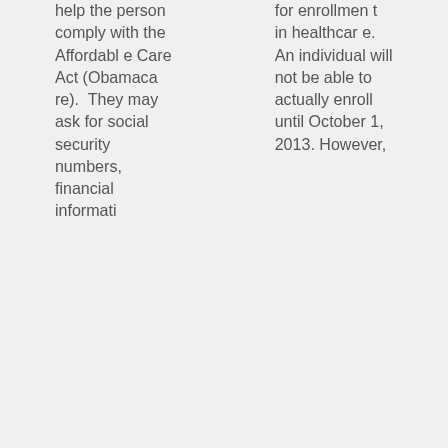help the person comply with the Affordable Care Act (Obamacare). They may ask for social security numbers, financial informati
for enrollment in healthcare. An individual will not be able to actually enroll until October 1, 2013. However,